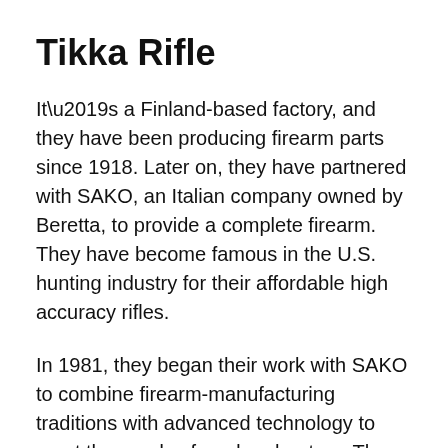Tikka Rifle
It’s a Finland-based factory, and they have been producing firearm parts since 1918. Later on, they have partnered with SAKO, an Italian company owned by Beretta, to provide a complete firearm. They have become famous in the U.S. hunting industry for their affordable high accuracy rifles.
In 1981, they began their work with SAKO to combine firearm-manufacturing traditions with advanced technology to meet the needs of modern hunters. The company pride themselves of their continued practices of visually inspecting each barrel and manually testing their accuracy.